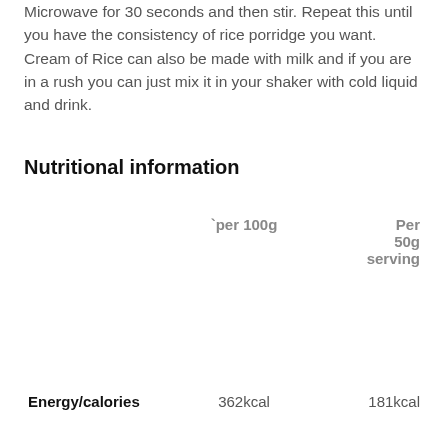Microwave for 30 seconds and then stir. Repeat this until you have the consistency of rice porridge you want. Cream of Rice can also be made with milk and if you are in a rush you can just mix it in your shaker with cold liquid and drink.
Nutritional information
|  | per 100g | Per 50g serving |
| --- | --- | --- |
| Energy/calories | 362kcal | 181kcal |